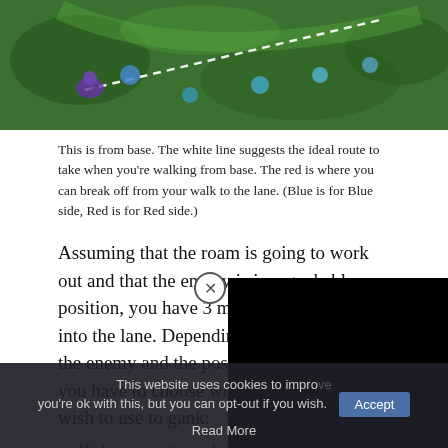[Figure (screenshot): A top-down game map (League of Legends minimap view) showing terrain with a dotted white path line indicating a route from base.]
This is from base. The white line suggests the ideal route to take when you're walking from base. The red is where you can break off from your walk to the lane. (Blue is for Blue side, Red is for Red side.)
Assuming that the roam is going to work out and that the enemy is in a gankable position, you have 3 main choices to get into the lane. Depending on the location of the enemy and the position of the wave, you have to choose which entrance you wish to use to gank:
If the wave is pushed [partially obscured by video overlay]
you can approach fro[m] [partially obscured]
river or from be[hind the] enemy.